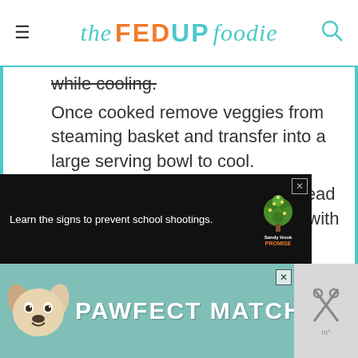the FED UP foodie
while cooling.
Once cooked remove veggies from steaming basket and transfer into a large serving bowl to cool.
5. Meanwhile, cut tomatoes and spread evenly on cutting board. Sprinkle with salt and pepper.
6. Once steamed veggies are cooled to room temperature, gently mixed in tomatoes.
7. Salt and pepper additionally if needed.
[Figure (screenshot): Advertisement: Learn the signs to prevent school shootings. Sandy Hook Promise logo with tree graphic.]
[Figure (screenshot): Advertisement: PAWFECT MATCH with dog image, teal/green background with close button and scissors icon.]